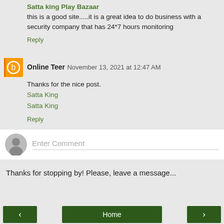Satta king Play Bazaar — this is a good site.....it is a great idea to do business with a security company that has 24*7 hours monitoring
Reply
Online Teer  November 13, 2021 at 12:47 AM
Thanks for the nice post.
Satta King
Satta King
Reply
[Figure (other): Comment input box with grey avatar and Enter Comment placeholder]
Thanks for stopping by! Please, leave a message...
< Home >